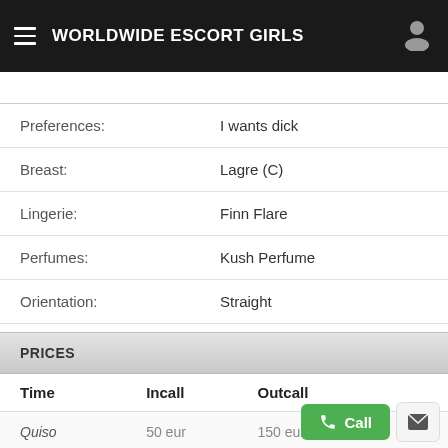WORLDWIDE ESCORT GIRLS
|  |  |
| --- | --- |
| Preferences: | I wants dick |
| Breast: | Lagre (C) |
| Lingerie: | Finn Flare |
| Perfumes: | Kush Perfume |
| Orientation: | Straight |
PRICES
| Time | Incall | Outcall |
| --- | --- | --- |
| Quiso | 50 eur | 150 eur |
| 1 hour | 340 eur | x |
| Plus hour | x | 180 eur + Outcall Ta... |